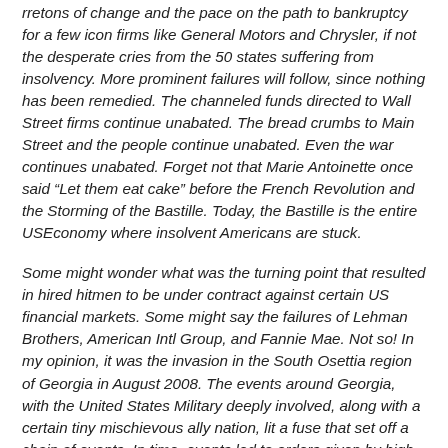rrretons of change and the pace on the path to bankruptcy for a few icon firms like General Motors and Chrysler, if not the desperate cries from the 50 states suffering from insolvency. More prominent failures will follow, since nothing has been remedied. The channeled funds directed to Wall Street firms continue unabated. The bread crumbs to Main Street and the people continue unabated. Even the war continues unabated. Forget not that Marie Antoinette once said “Let them eat cake” before the French Revolution and the Storming of the Bastille. Today, the Bastille is the entire USEconomy where insolvent Americans are stuck.
Some might wonder what was the turning point that resulted in hired hitmen to be under contract against certain US financial markets. Some might say the failures of Lehman Brothers, American Intl Group, and Fannie Mae. Not so! In my opinion, it was the invasion in the South Osettia region of Georgia in August 2008. The events around Georgia, with the United States Military deeply involved, along with a certain tiny mischievous ally nation, lit a fuse that set off a chain of events. In time, events led to orders given by high level powers, for the US fraud kings on Wall Street to swallow the medicine no later than first thing Monday...